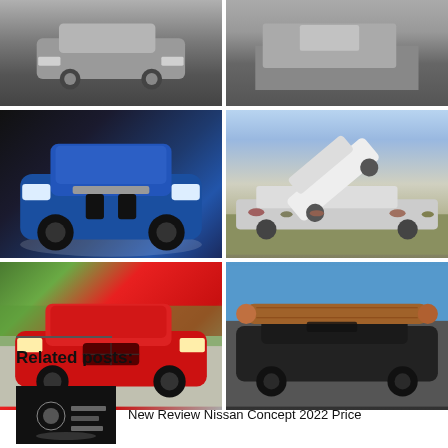[Figure (photo): Six car photos arranged in 3 rows of 2: Row 1 shows two partial car images cropped at top. Row 2 shows a blue BMW X5 SUV on dark background, and cars stacked in a crash/stunt scene with a crowd. Row 3 shows a red Infiniti QX55 SUV, and a dark car with a large log on top of it.]
Related posts:
[Figure (photo): Thumbnail image of a Nissan concept car, dark tones]
New Review Nissan Concept 2022 Price